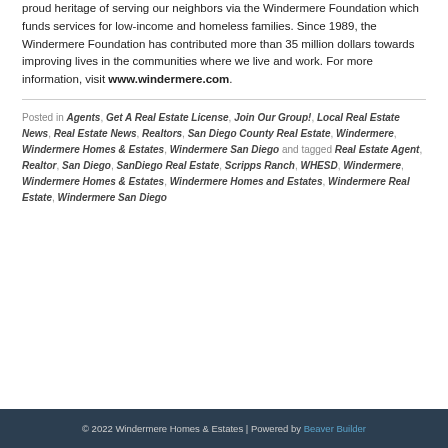proud heritage of serving our neighbors via the Windermere Foundation which funds services for low-income and homeless families. Since 1989, the Windermere Foundation has contributed more than 35 million dollars towards improving lives in the communities where we live and work. For more information, visit www.windermere.com.
Posted in Agents, Get A Real Estate License, Join Our Group!, Local Real Estate News, Real Estate News, Realtors, San Diego County Real Estate, Windermere, Windermere Homes & Estates, Windermere San Diego and tagged Real Estate Agent, Realtor, San Diego, SanDiego Real Estate, Scripps Ranch, WHESD, Windermere, Windermere Homes & Estates, Windermere Homes and Estates, Windermere Real Estate, Windermere San Diego
© 2022 Windermere Homes & Estates | Powered by Beaver Builder